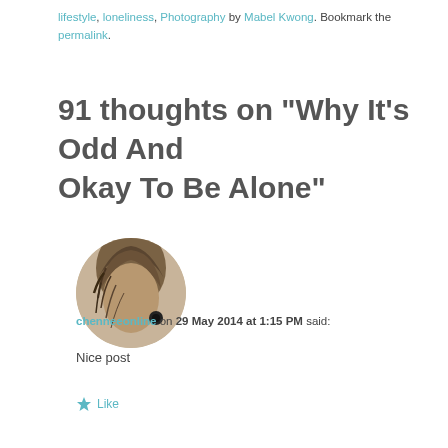lifestyle, loneliness, Photography by Mabel Kwong. Bookmark the permalink.
91 thoughts on “Why It’s Odd And Okay To Be Alone”
[Figure (photo): Circular avatar photo of a person with brown hair viewed from the side/behind]
chenneeonline on 29 May 2014 at 1:15 PM said:
Nice post
★ Like